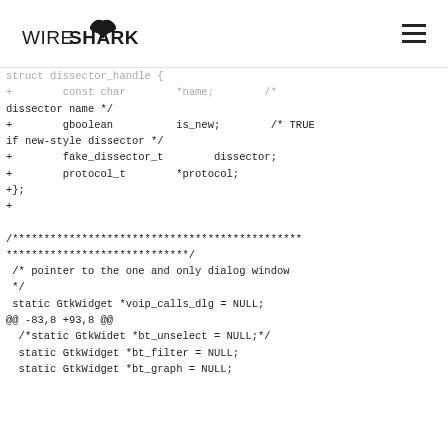WIRESHARK
struct dissector_handle {
+        const char        *name;        /* dissector name */
+        gboolean          is_new;        /* TRUE if new-style dissector */
+        fake_dissector_t        dissector;
+        protocol_t        *protocol;
+};
+

/**********************************************
*****************************/
 /* pointer to the one and only dialog window */
 static GtkWidget *voip_calls_dlg = NULL;
@@ -83,8 +93,8 @@
  /*static GtkWidet *bt_unselect = NULL;*/
  static GtkWidget *bt_filter = NULL;
  static GtkWidget *bt_graph = NULL;